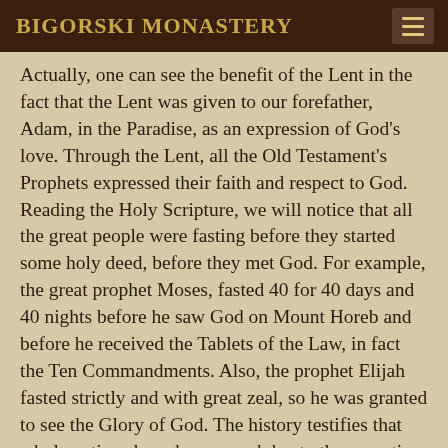BIGORSKI MONASTERY
Actually, one can see the benefit of the Lent in the fact that the Lent was given to our forefather, Adam, in the Paradise, as an expression of God’s love. Through the Lent, all the Old Testament’s Prophets expressed their faith and respect to God.
Reading the Holy Scripture, we will notice that all the great people were fasting before they started some holy deed, before they met God. For example, the great prophet Moses, fasted 40 for 40 days and 40 nights before he saw God on Mount Horeb and before he received the Tablets of the Law, in fact the Ten Commandments. Also, the prophet Elijah fasted strictly and with great zeal, so he was granted to see the Glory of God. The history testifies that whole nations have been saved due to the repenting Lent. Let’s remind ourselves of the Ninevites, who were to endure